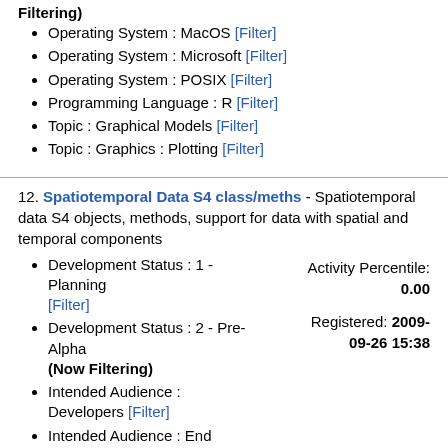Filtering)
Operating System : MacOS [Filter]
Operating System : Microsoft [Filter]
Operating System : POSIX [Filter]
Programming Language : R [Filter]
Topic : Graphical Models [Filter]
Topic : Graphics : Plotting [Filter]
12. Spatiotemporal Data S4 class/meths - Spatiotemporal data S4 objects, methods, support for data with spatial and temporal components
Development Status : 1 - Planning [Filter]
Development Status : 2 - Pre-Alpha (Now Filtering)
Intended Audience : Developers [Filter]
Intended Audience : End Users/Desktop (Now Filtering)
License : OSI Approved : GNU Lesser General Public License (LGPL) [Filter]
Natural Language : English (Now Filtering)
Programming Language : C/C\+\+ [Filter]
Programming Language : R [Filter]
Topic : Spatial Data & Statistics :
Activity Percentile: 0.00
Registered: 2009-09-26 15:38